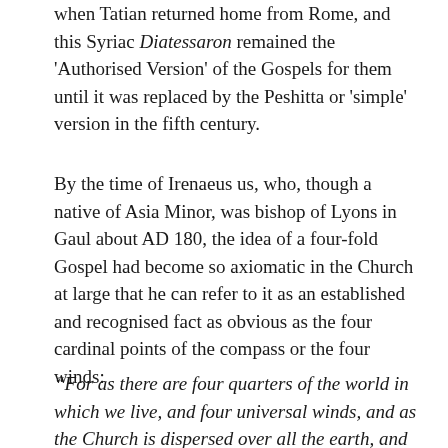when Tatian returned home from Rome, and this Syriac Diatessaron remained the 'Authorised Version' of the Gospels for them until it was replaced by the Peshitta or 'simple' version in the fifth century.
By the time of Irenaeus us, who, though a native of Asia Minor, was bishop of Lyons in Gaul about AD 180, the idea of a four-fold Gospel had become so axiomatic in the Church at large that he can refer to it as an established and recognised fact as obvious as the four cardinal points of the compass or the four winds:
“For as there are four quarters of the world in which we live, and four universal winds, and as the Church is dispersed over all the earth, and the gospel is the pillar and base of the Church and the breath of life, so it is natural that it should have four pillars, breathing immortality from every quarter